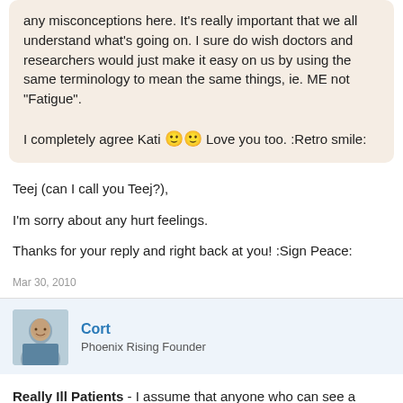any misconceptions here. It's really important that we all understand what's going on. I sure do wish doctors and researchers would just make it easy on us by using the same terminology to mean the same things, ie. ME not "Fatigue".

I completely agree Kati 🙂🙂 Love you too. :Retro smile:
Teej (can I call you Teej?),

I'm sorry about any hurt feelings.

Thanks for your reply and right back at you! :Sign Peace:
Mar 30, 2010
Cort
Phoenix Rising Founder
Really Ill Patients - I assume that anyone who can see a doctor can participate in this program. Many very, very ill